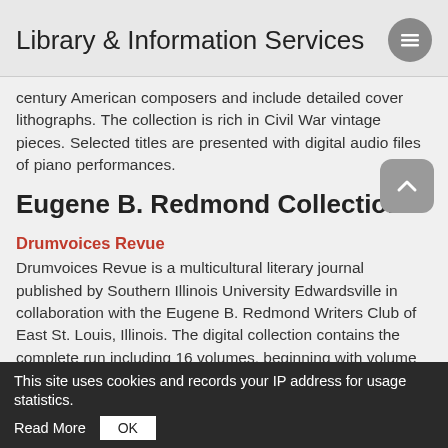Library & Information Services
century American composers and include detailed cover lithographs. The collection is rich in Civil War vintage pieces. Selected titles are presented with digital audio files of piano performances.
Eugene B. Redmond Collection
Drumvoices Revue
Drumvoices Revue is a multicultural literary journal published by Southern Illinois University Edwardsville in collaboration with the Eugene B. Redmond Writers Club of East St. Louis, Illinois. The digital collection contains the complete run including 16 volumes, beginning with volume 1, nos. 1 & 2 (fall-winter 1991/92), and supplements 1-12.
EBR African American Cultural Life
This site uses cookies and records your IP address for usage statistics. Read More OK